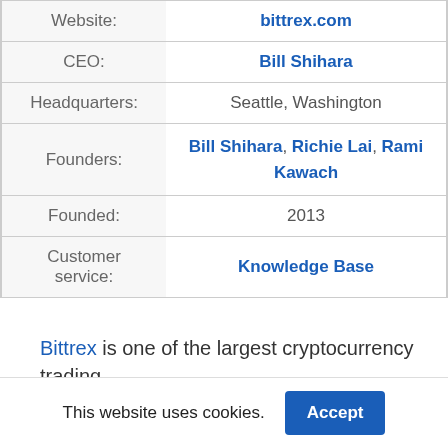| Field | Value |
| --- | --- |
| Website: | bittrex.com |
| CEO: | Bill Shihara |
| Headquarters: | Seattle, Washington |
| Founders: | Bill Shihara, Richie Lai, Rami Kawach |
| Founded: | 2013 |
| Customer service: | Knowledge Base |
Bittrex is one of the largest cryptocurrency trading
This website uses cookies.